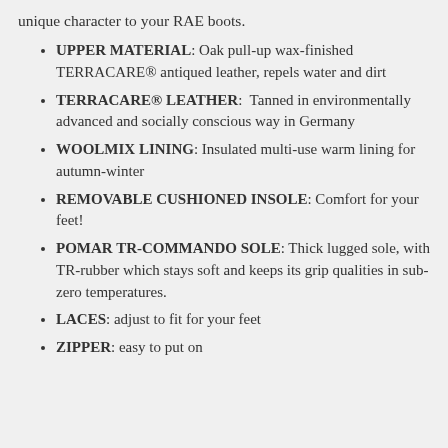unique character to your RAE boots.
UPPER MATERIAL: Oak pull-up wax-finished TERRACARE® antiqued leather, repels water and dirt
TERRACARE® LEATHER: Tanned in environmentally advanced and socially conscious way in Germany
WOOLMIX LINING: Insulated multi-use warm lining for autumn-winter
REMOVABLE CUSHIONED INSOLE: Comfort for your feet!
POMAR TR-COMMANDO SOLE: Thick lugged sole, with TR-rubber which stays soft and keeps its grip qualities in sub-zero temperatures.
LACES: adjust to fit for your feet
ZIPPER: easy to put on